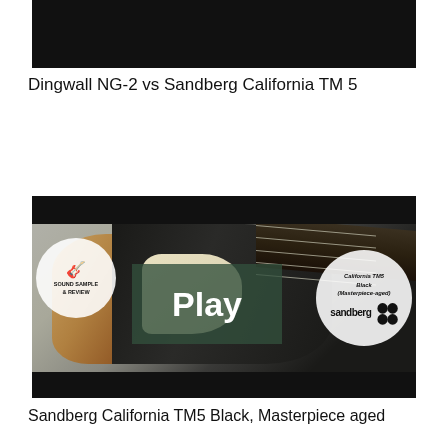[Figure (screenshot): Video thumbnail with black bars top and bottom — first video preview showing dark background]
Dingwall NG-2 vs Sandberg California TM 5
[Figure (screenshot): Video thumbnail showing a Sandberg California TM5 Black Masterpiece-aged bass guitar with a Play button overlay, Sound Sample & Review badge on the left, and Sandberg logo/model info circle on the right]
Sandberg California TM5 Black, Masterpiece aged